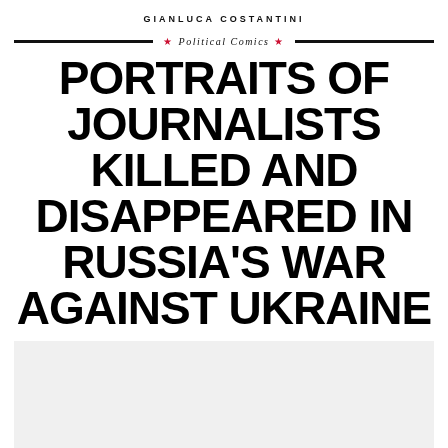GIANLUCA COSTANTINI
★ Political Comics ★
PORTRAITS OF JOURNALISTS KILLED AND DISAPPEARED IN RUSSIA'S WAR AGAINST UKRAINE
[Figure (illustration): Light gray rectangular illustration area at the bottom of the page]